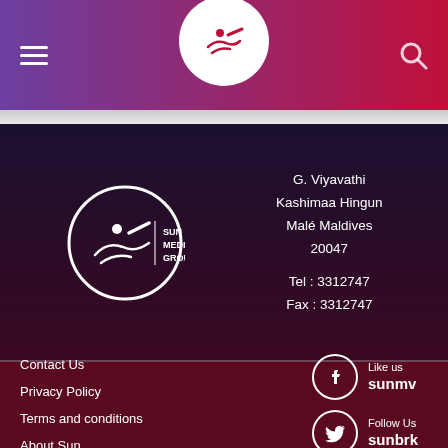[Figure (logo): Sun Media Group logo in header bar - hamburger menu icon on left, circular logo in center, search icon on right, purple to red gradient background]
[Figure (logo): Sun Media Group logo circle with Dhivehi script and SUN MEDIA GROUP text]
G. Viyavathi
Kashimaa Hingun
Malé Maldives
20047

Tel : 3312747
Fax : 3312747
Contact Us
Privacy Policy
Terms and conditions
About Sun
Like us
sunmv
Follow Us
sunbrk